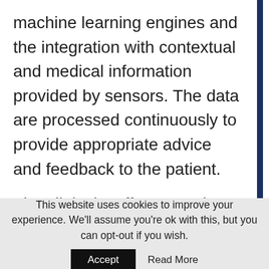machine learning engines and the integration with contextual and medical information provided by sensors. The data are processed continuously to provide appropriate advice and feedback to the patient.
The clinical staff can monitor the evolution of the patient's situation at any time. There is a wide range of interactions with the virtual coach
This website uses cookies to improve your experience. We'll assume you're ok with this, but you can opt-out if you wish. Accept Read More